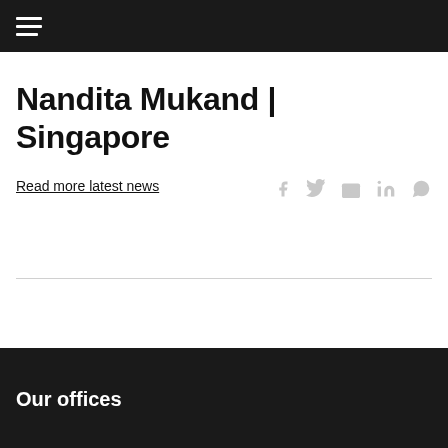Nandita Mukand | Singapore
Read more latest news
Our offices